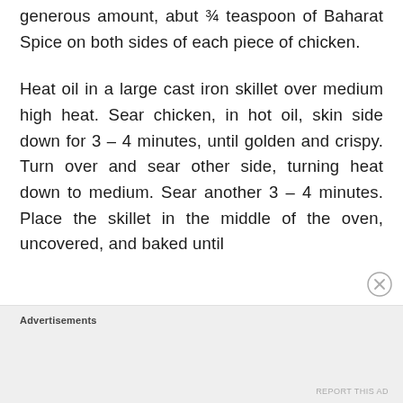generous amount, abut ¾ teaspoon of Baharat Spice on both sides of each piece of chicken.
Heat oil in a large cast iron skillet over medium high heat. Sear chicken, in hot oil, skin side down for 3 – 4 minutes, until golden and crispy. Turn over and sear other side, turning heat down to medium. Sear another 3 – 4 minutes. Place the skillet in the middle of the oven, uncovered, and baked until
Advertisements